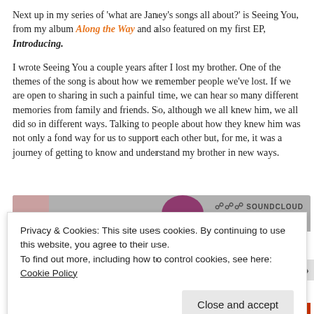Next up in my series of 'what are Janey's songs all about?' is Seeing You, from my album Along the Way and also featured on my first EP, Introducing.
I wrote Seeing You a couple years after I lost my brother. One of the themes of the song is about how we remember people we've lost. If we are open to sharing in such a painful time, we can hear so many different memories from family and friends. So, although we all knew him, we all did so in different ways. Talking to people about how they knew him was not only a fond way for us to support each other but, for me, it was a journey of getting to know and understand my brother in new ways.
[Figure (screenshot): SoundCloud embedded audio player widget, partially visible, with a grey background, album thumbnail on the left, a circular purple/maroon graphic in the center, and the SoundCloud logo with sound wave icon on the right.]
Privacy & Cookies: This site uses cookies. By continuing to use this website, you agree to their use. To find out more, including how to control cookies, see here: Cookie Policy
Close and accept